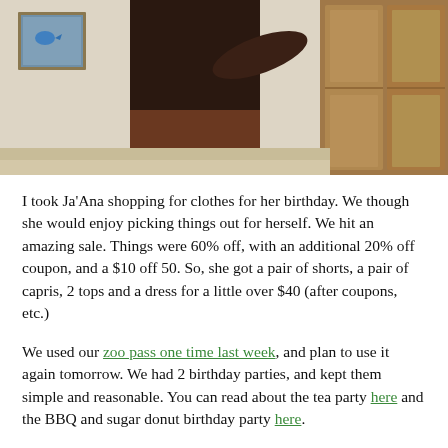[Figure (photo): Partial photo of a person in a room with beige/tan walls, wooden cabinet/closet on the right, and a framed piece of artwork on the upper left wall. The lower portion shows a carpeted or tiled floor area.]
I took Ja'Ana shopping for clothes for her birthday.  We though she would enjoy picking things out for herself.  We hit an amazing sale.  Things were 60% off, with an additional 20% off coupon, and a $10 off 50.  So, she got a pair of shorts, a pair of capris, 2 tops and a dress for a little over $40 (after coupons, etc.)
We used our zoo pass one time last week, and plan to use it again tomorrow.  We had 2 birthday parties, and kept them simple and reasonable.  You can read about the tea party here and the BBQ and sugar donut birthday party here.
We all finished school this week, except the homeschoolers